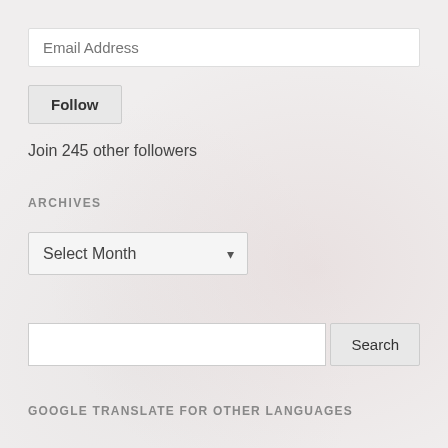Email Address
Follow
Join 245 other followers
ARCHIVES
Select Month
Search
GOOGLE TRANSLATE FOR OTHER LANGUAGES